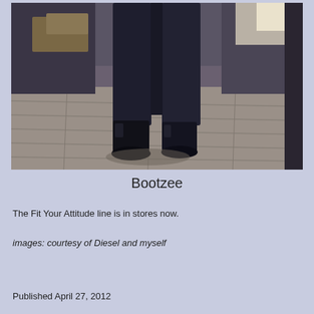[Figure (photo): Photo of a person's lower body wearing dark jeans and black boots, standing on a wood-plank floor inside a store. Wooden furniture/pallets visible in background.]
Bootzee
The Fit Your Attitude line is in stores now.
images: courtesy of Diesel and myself
Published April 27, 2012